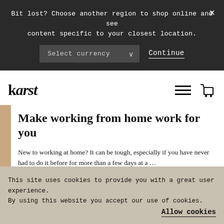Bit lost? Choose another region to shop online and see content specific to your closest location.
Select currency
Continue
[Figure (logo): Karst brand logo in bold serif font]
Make working from home work for you
New to working at home? It can be tough, especially if you have never had to do it before for more than a few days at a ...
Read More →
This site uses cookies to provide you with a great user experience. By using this website you accept our use of cookies.
Allow cookies